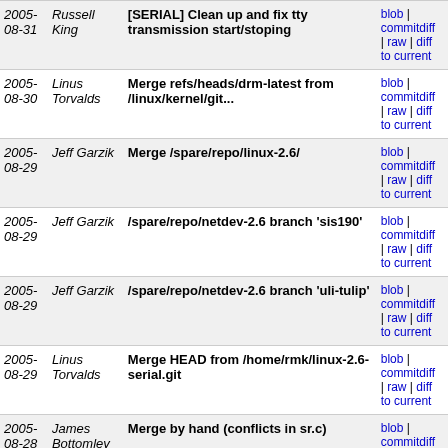| Date | Author | Commit message |  |
| --- | --- | --- | --- |
| 2005-08-31 | Russell King | [SERIAL] Clean up and fix tty transmission start/stoping | blob | commitdiff | raw | diff to current |
| 2005-08-30 | Linus Torvalds | Merge refs/heads/drm-latest from /linux/kernel/git... | blob | commitdiff | raw | diff to current |
| 2005-08-29 | Jeff Garzik | Merge /spare/repo/linux-2.6/ | blob | commitdiff | raw | diff to current |
| 2005-08-29 | Jeff Garzik | /spare/repo/netdev-2.6 branch 'sis190' | blob | commitdiff | raw | diff to current |
| 2005-08-29 | Jeff Garzik | /spare/repo/netdev-2.6 branch 'uli-tulip' | blob | commitdiff | raw | diff to current |
| 2005-08-29 | Linus Torvalds | Merge HEAD from /home/rmk/linux-2.6-serial.git | blob | commitdiff | raw | diff to current |
| 2005-08-28 | James Bottomley | Merge by hand (conflicts in sr.c) | blob | commitdiff | raw | diff to current |
| 2005-08-28 | James Bottomley | Merge HEAD from ../scsi-misc-2.6-tmp | blob | commitdiff | raw | diff to current |
| 2005-08-28 | James Bottomley | fix mismerge in ll_rw_blk.c | blob | commitdiff | raw | diff to current |
| 2005-08-18 | Dave Jones | Merge /pub/scm/linux/kernel/git/torvalds/linux-2.6 | blob | commitdiff | raw | diff to current |